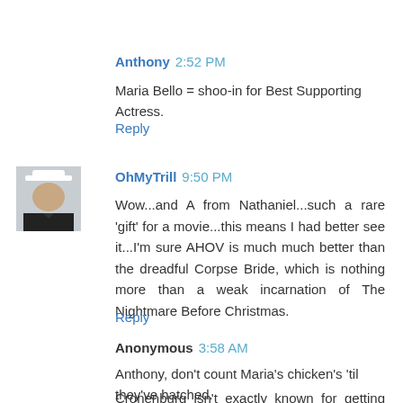Anthony 2:52 PM
Maria Bello = shoo-in for Best Supporting Actress.
Reply
[Figure (photo): Small avatar photo of OhMyTrill user, person wearing a cap, dark jacket, light background]
OhMyTrill 9:50 PM
Wow...and A from Nathaniel...such a rare 'gift' for a movie...this means I had better see it...I'm sure AHOV is much much better than the dreadful Corpse Bride, which is nothing more than a weak incarnation of The Nightmare Before Christmas.
Reply
Anonymous 3:58 AM
Anthony, don't count Maria's chicken's 'til they've hatched.
Cronenburg isn't exactly known for getting anybody